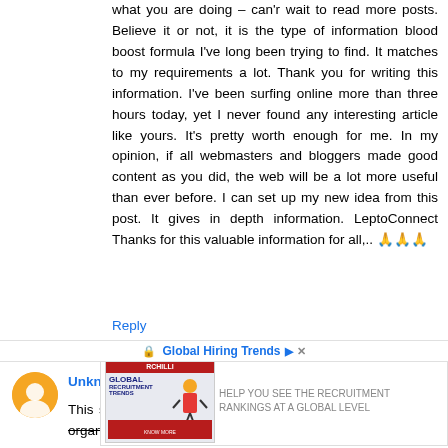what you are doing – can'r wait to read more posts. Believe it or not, it is the type of information blood boost formula I've long been trying to find. It matches to my requirements a lot. Thank you for writing this information. I've been surfing online more than three hours today, yet I never found any interesting article like yours. It's pretty worth enough for me. In my opinion, if all webmasters and bloggers made good content as you did, the web will be a lot more useful than ever before. I can set up my new idea from this post. It gives in depth information. LeptoConnect Thanks for this valuable information for all,.. 🙏🙏🙏
Reply
Unknown April 6, 2022 at 12:15 AM
This site seems to inspire me a lot. Thank you so much for organizing and providing this quality information in an easy
[Figure (screenshot): Advertisement banner showing RCHilli Global Recruitment Trends with an illustration and Global Hiring Trends text]